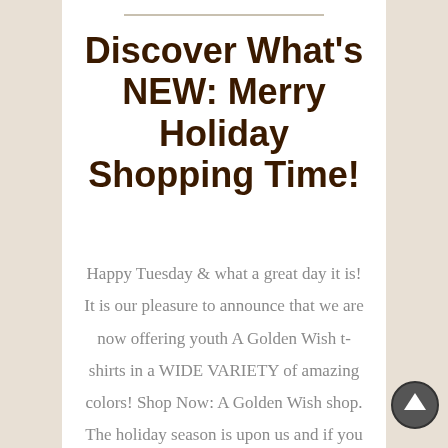Discover What's NEW: Merry Holiday Shopping Time!
Happy Tuesday & what a great day it is! It is our pleasure to announce that we are now offering youth A Golden Wish t-shirts in a WIDE VARIETY of amazing colors! Shop Now: A Golden Wish shop. The holiday season is upon us and if you are looking for...